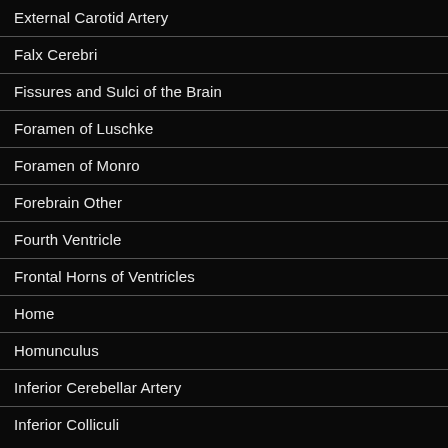External Carotid Artery
Falx Cerebri
Fissures and Sulci of the Brain
Foramen of Luschke
Foramen of Monro
Forebrain Other
Fourth Ventricle
Frontal Horns of Ventricles
Home
Homunculus
Inferior Cerebellar Artery
Inferior Colliculi